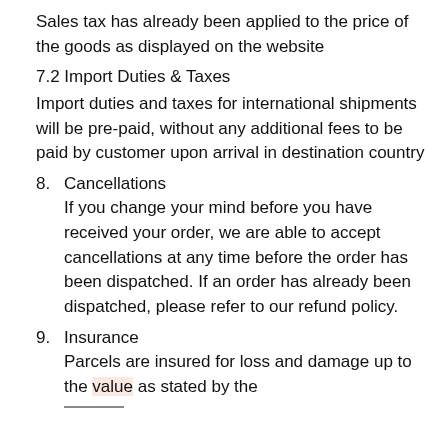Sales tax has already been applied to the price of the goods as displayed on the website
7.2 Import Duties & Taxes
Import duties and taxes for international shipments will be pre-paid, without any additional fees to be paid by customer upon arrival in destination country
8. Cancellations
If you change your mind before you have received your order, we are able to accept cancellations at any time before the order has been dispatched. If an order has already been dispatched, please refer to our refund policy.
9. Insurance
Parcels are insured for loss and damage up to the value as stated by the courier